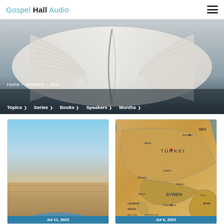Gospel Hall Audio
[Figure (photo): Open Bible/book photo used as hero banner background]
Home > Sermons > Acts
Topics  Series  Books  Speakers  Months
[Figure (photo): Aerial landscape photo showing flat terrain and a body of water, with a date overlay reading Jul 11, 2022]
[Figure (photo): Map of Turkey and surrounding region (Middle East/Mediterranean) showing countries including TURKEY, SYRIEN, LIBANON, ISRAEL, IRAK, Georgia; with a date overlay reading Jul 6, 2022]